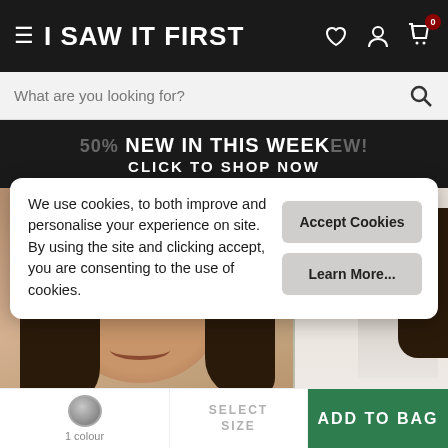I SAW IT FIRST
What are you looking for?
50% NEW IN THIS WEEK EW! CLICK TO SHOP NOW
[Figure (photo): Fashion model with dark hair posing with hands raised, wearing glitter eye makeup; partial second model visible on right]
We use cookies, to both improve and personalise your experience on site. By using the site and clicking accept, you are consenting to the use of cookies.
Accept Cookies
Learn More...
£12.00
1 colour
SELECT SIZE
ADD TO BAG